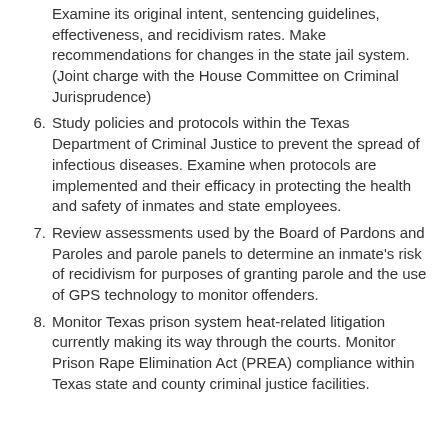Examine its original intent, sentencing guidelines, effectiveness, and recidivism rates. Make recommendations for changes in the state jail system. (Joint charge with the House Committee on Criminal Jurisprudence)
6. Study policies and protocols within the Texas Department of Criminal Justice to prevent the spread of infectious diseases. Examine when protocols are implemented and their efficacy in protecting the health and safety of inmates and state employees.
7. Review assessments used by the Board of Pardons and Paroles and parole panels to determine an inmate's risk of recidivism for purposes of granting parole and the use of GPS technology to monitor offenders.
8. Monitor Texas prison system heat-related litigation currently making its way through the courts. Monitor Prison Rape Elimination Act (PREA) compliance within Texas state and county criminal justice facilities.